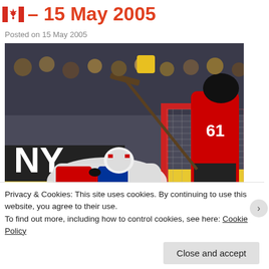– 15 May 2005
Posted on 15 May 2005
[Figure (photo): Ice hockey game photo showing a goaltender in white Czech Republic uniform lying on the ice attempting a save, with a player in red jersey number 61 shooting the puck. A Sony advertisement board is visible in the background along with a red net and crowd.]
Privacy & Cookies: This site uses cookies. By continuing to use this website, you agree to their use.
To find out more, including how to control cookies, see here: Cookie Policy
Close and accept